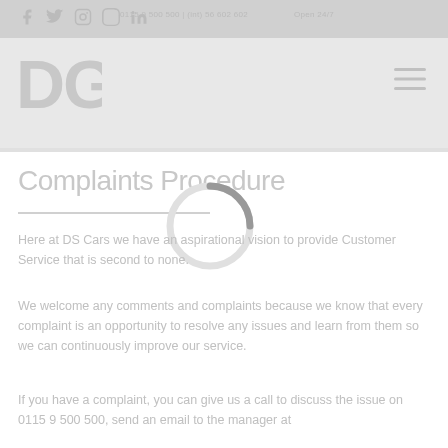Social icons: f, Twitter, Instagram, Pinterest, LinkedIn | 0115 9 500 500 | (int) 56 602 602 | Open 24/7
[Figure (logo): DG Cars logo - stylized DG letters in white on light grey background]
Complaints Procedure
Here at DS Cars we have an aspirational vision to provide Customer Service that is second to none.
We welcome any comments and complaints because we know that every complaint is an opportunity to resolve any issues and learn from them so we can continuously improve our service.
If you have a complaint, you can give us a call to discuss the issue on 0115 9 500 500, send an email to the manager at